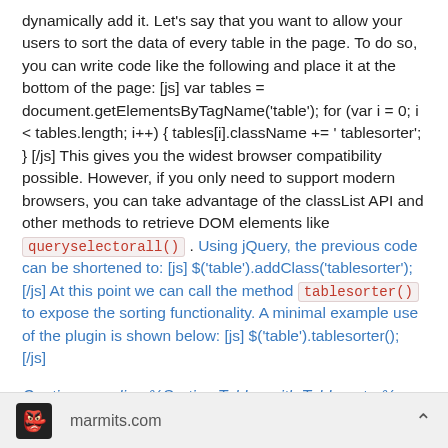dynamically add it. Let's say that you want to allow your users to sort the data of every table in the page. To do so, you can write code like the following and place it at the bottom of the page: [js] var tables = document.getElementsByTagName('table'); for (var i = 0; i < tables.length; i++) { tables[i].className += ' tablesorter'; } [/js] This gives you the widest browser compatibility possible. However, if you only need to support modern browsers, you can take advantage of the classList API and other methods to retrieve DOM elements like queryselectorall() . Using jQuery, the previous code can be shortened to: [js] $('table').addClass('tablesorter'); [/js] At this point we can call the method tablesorter() to expose the sorting functionality. A minimal example use of the plugin is shown below: [js] $('table').tablesorter(); [/js]
Continue reading %Sorting Tables with Tablesorter%
Flux (rss): http://feeds.feedburner.com/Jquery4u?format=xml
marmits.com